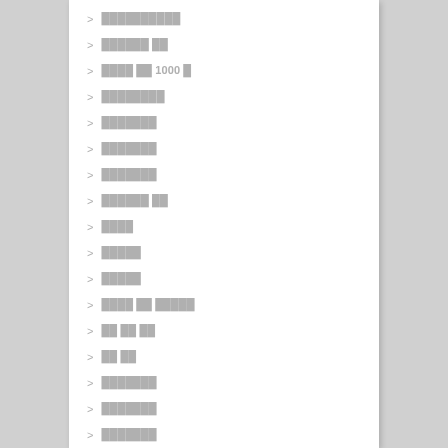██████████
██████ ██
████ ██ 1000 █
████████
███████
███████
███████
██████ ██
████
█████
█████
████ ██ █████
██ ██ ██
██ ██
███████
███████
███████
██████ ██
████